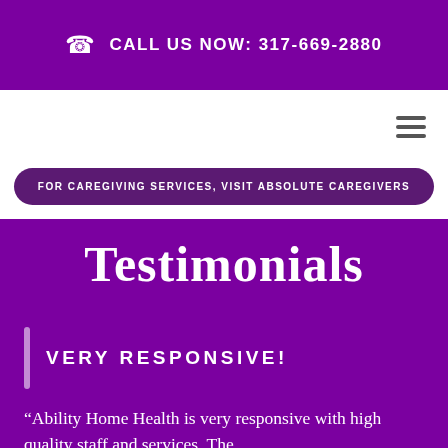CALL US NOW: 317-669-2880
FOR CAREGIVING SERVICES, VISIT ABSOLUTE CAREGIVERS
Testimonials
VERY RESPONSIVE!
“Ability Home Health is very responsive with high quality staff and services. The